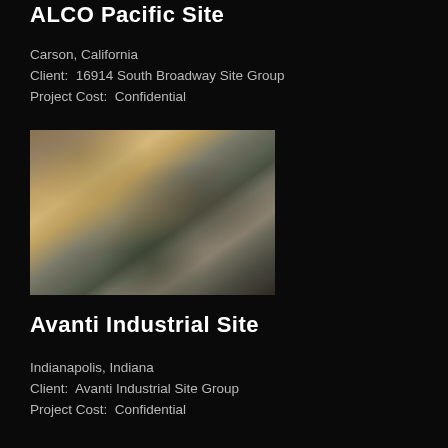ALCO Pacific Site
Carson, California
Client:  16914 South Broadway Site Group
Project Cost:  Confidential
[Figure (photo): Aerial photograph of the ALCO Pacific Site showing a large cleared/graded dirt area on the left half and industrial buildings/structures on the right half, with trees lining the bottom edge.]
Avanti Industrial Site
Indianapolis, Indiana
Client:  Avanti Industrial Site Group
Project Cost:  Confidential